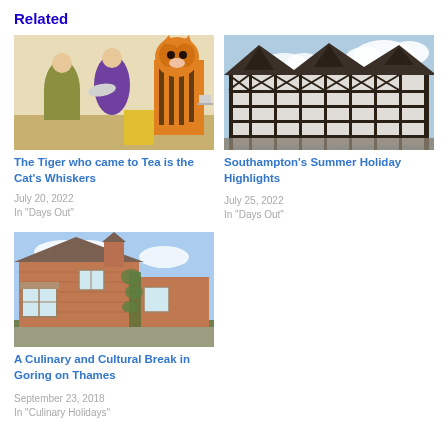Related
[Figure (photo): Three people including a tiger costume character holding plates, theatrical scene]
The Tiger who came to Tea is the Cat's Whiskers
July 20, 2022
In "Days Out"
[Figure (photo): Tudor black-and-white timber-framed building in Southampton]
Southampton's Summer Holiday Highlights
July 25, 2022
In "Days Out"
[Figure (photo): Brick cottage with bay windows and garden, Goring on Thames]
A Culinary and Cultural Break in Goring on Thames
September 23, 2018
In "Culinary Holidays"